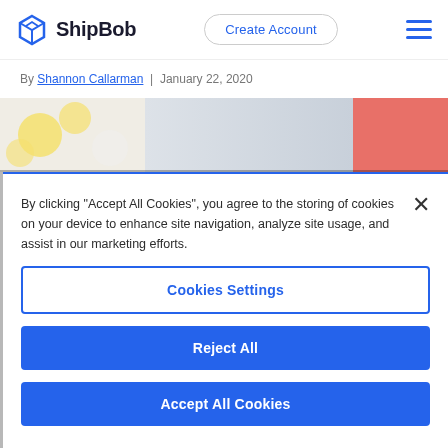ShipBob  |  Create Account
By Shannon Callarman  |  January 22, 2020
[Figure (photo): Partial hero image strip showing lemons on left, gray/white gradient center, and coral/salmon color block on the right]
By clicking “Accept All Cookies”, you agree to the storing of cookies on your device to enhance site navigation, analyze site usage, and assist in our marketing efforts.
Cookies Settings
Reject All
Accept All Cookies